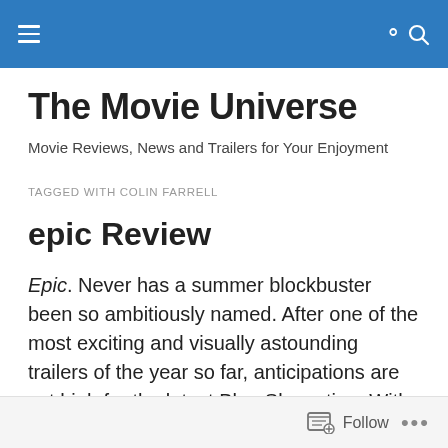The Movie Universe — navigation header bar
The Movie Universe
Movie Reviews, News and Trailers for Your Enjoyment
TAGGED WITH COLIN FARRELL
epic Review
Epic. Never has a summer blockbuster been so ambitiously named. After one of the most exciting and visually astounding trailers of the year so far, anticipations are set high for the latest Blue Sky outing. With a voicing
Follow  •••